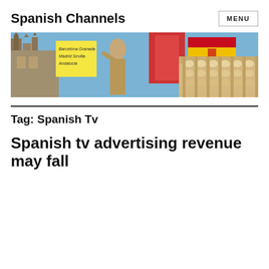Spanish Channels
[Figure (photo): Banner image showing Spanish landmarks: Gothic cathedral towers on the left, a statue holding a yellow sign with text 'Barcelona, Granada, Madrid, Sevilla, Andalucia', a bullring/plaza de toros on the right, and a Spanish flag in the upper right corner. Blue sky background.]
Tag: Spanish Tv
Spanish tv advertising revenue may fall